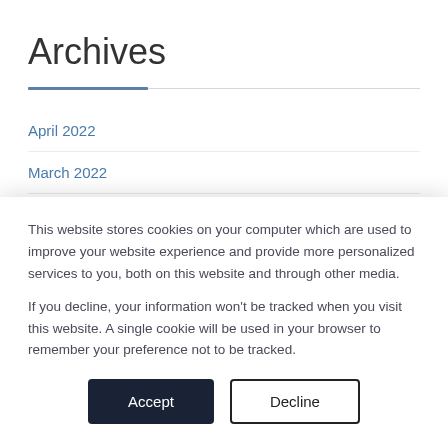Archives
April 2022
March 2022
February 2022
January 2022
This website stores cookies on your computer which are used to improve your website experience and provide more personalized services to you, both on this website and through other media.

If you decline, your information won't be tracked when you visit this website. A single cookie will be used in your browser to remember your preference not to be tracked.